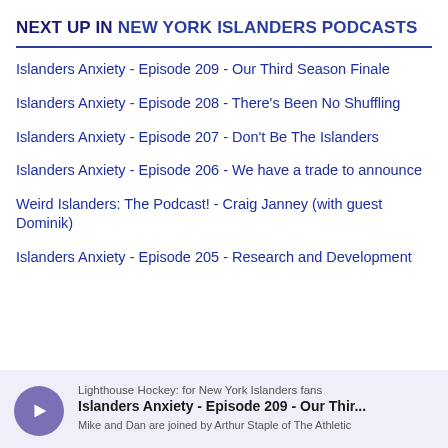NEXT UP IN NEW YORK ISLANDERS PODCASTS
Islanders Anxiety - Episode 209 - Our Third Season Finale
Islanders Anxiety - Episode 208 - There's Been No Shuffling
Islanders Anxiety - Episode 207 - Don't Be The Islanders
Islanders Anxiety - Episode 206 - We have a trade to announce
Weird Islanders: The Podcast! - Craig Janney (with guest Dominik)
Islanders Anxiety - Episode 205 - Research and Development
[Figure (screenshot): Podcast player card at the bottom showing play button and episode info: Lighthouse Hockey: for New York Islanders fans / Islanders Anxiety - Episode 209 - Our Thir... / Mike and Dan are joined by Arthur Staple of The Athletic]